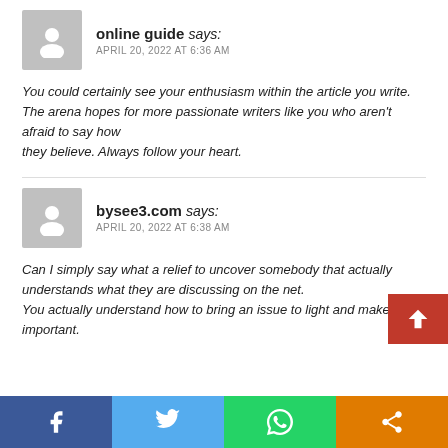online guide says:
APRIL 20, 2022 AT 6:36 AM
You could certainly see your enthusiasm within the article you write.
The arena hopes for more passionate writers like you who aren't afraid to say how
they believe. Always follow your heart.
bysee3.com says:
APRIL 20, 2022 AT 6:38 AM
Can I simply say what a relief to uncover somebody that actually understands what they are discussing on the net.
You actually understand how to bring an issue to light and make it important.